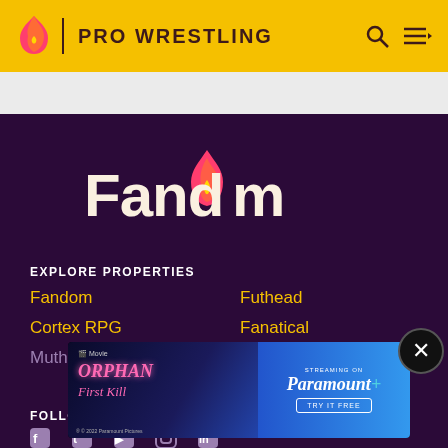PRO WRESTLING
[Figure (logo): Fandom logo — white wordmark with flame icon containing heart, on dark purple background]
EXPLORE PROPERTIES
Fandom
Futhead
Cortex RPG
Fanatical
Muthea...
[Figure (screenshot): Advertisement for Orphan: First Kill movie streaming on Paramount+. Shows movie title in pink italic text, actress in dark clothing, and Paramount+ logo with TRY IT FREE button on blue background.]
FOLLOW